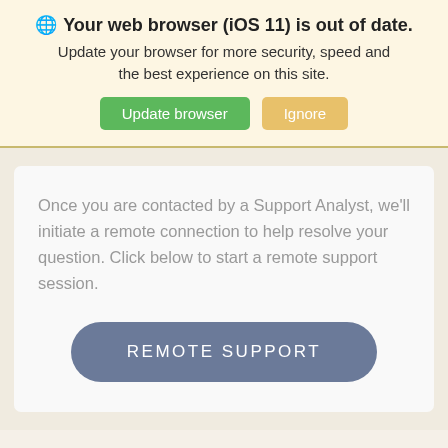🌐 Your web browser (iOS 11) is out of date.
Update your browser for more security, speed and the best experience on this site.
Update browser   Ignore
Once you are contacted by a Support Analyst, we'll initiate a remote connection to help resolve your question. Click below to start a remote support session.
REMOTE SUPPORT